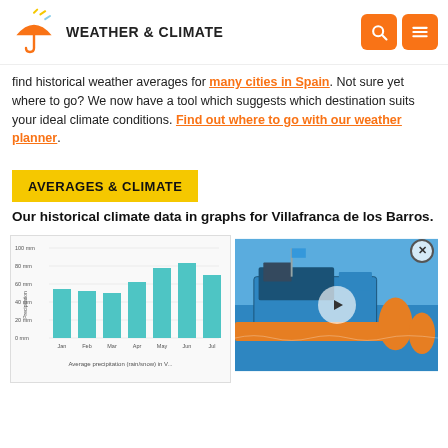WEATHER & CLIMATE
find historical weather averages for many cities in Spain. Not sure yet where to go? We now have a tool which suggests which destination suits your ideal climate conditions. Find out where to go with our weather planner.
AVERAGES & CLIMATE
Our historical climate data in graphs for Villafranca de los Barros.
[Figure (bar-chart): Average precipitation (rain/snow) in Villafranca de los Barros]
[Figure (photo): Blue research vessel with orange autonomous surface vehicles on water, with a video play button overlay]